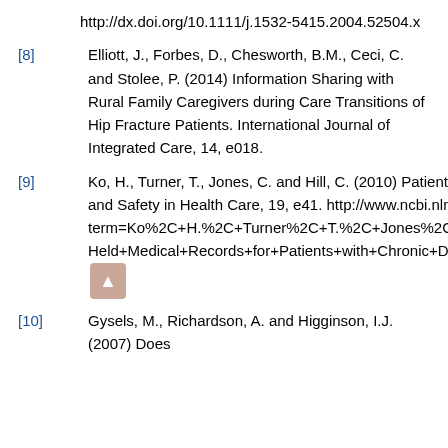http://dx.doi.org/10.1111/j.1532-5415.2004.52504.x
[8] Elliott, J., Forbes, D., Chesworth, B.M., Ceci, C. and Stolee, P. (2014) Information Sharing with Rural Family Caregivers during Care Transitions of Hip Fracture Patients. International Journal of Integrated Care, 14, e018.
[9] Ko, H., Turner, T., Jones, C. and Hill, C. (2010) Patient-Held Medical Records for Patients with Chronic Disease: A Systematic Review. Quality and Safety in Health Care, 19, e41. http://www.ncbi.nlm.nih.gov/pubmed/?term=Ko%2C+H.%2C+Turner%2C+T.%2C+Jones%2C+C.+and+Hill %2C+C.+(2010)+Patient-Held+Medical+Records+for+Patients+with+Chronic+Disease%3A+A+Systematic+Review.+Quality+and+Safety+in+Health+Care%2C+19%2C
[10] Gysels, M., Richardson, A. and Higginson, I.J. (2007) Does